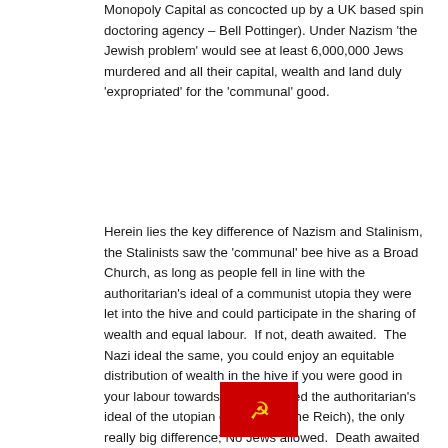Monopoly Capital as concocted up by a UK based spin doctoring agency – Bell Pottinger). Under Nazism 'the Jewish problem' would see at least 6,000,000 Jews murdered and all their capital, wealth and land duly 'expropriated' for the 'communal' good.
Herein lies the key difference of Nazism and Stalinism, the Stalinists saw the 'communal' bee hive as a Broad Church, as long as people fell in line with the authoritarian's ideal of a communist utopia they were let into the hive and could participate in the sharing of wealth and equal labour.  If not, death awaited.  The Nazi ideal the same, you could enjoy an equitable distribution of wealth in the hive if you were good in your labour towards it and followed the authoritarian's ideal of the utopian community (the Reich), the only really big difference; No Jews allowed.  Death awaited those not buying into the scheme, and this meant normal people not deemed 'Aryan' enough in the 'völkisch' ideology and Jews as an entire population without exception.
[Figure (illustration): Partial view of two flags at the bottom of the page: a Soviet flag (red with hammer and sickle) on the left and a Nazi flag (red with swastika) on the right]